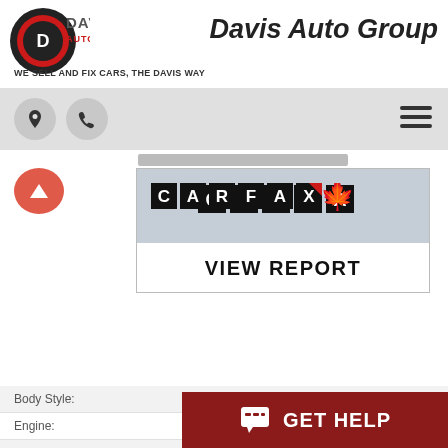[Figure (logo): Davis Auto Group logo with circular emblem and text]
Davis Auto Group
WE SELL AND FIX CARS, THE DAVIS WAY
[Figure (logo): CARFAX Canada logo with maple leaf]
VIEW REPORT
| Field | Value |
| --- | --- |
| Body Style: | SUV |
| Engine: | 3.6L 6cyl |
| Exterior Colour: | Black |
| Transmission: | Automatic |
| Drivetrain: |  |
| Stock #: |  |